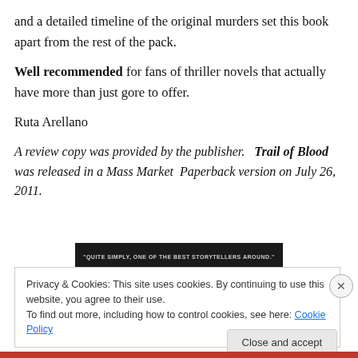and a detailed timeline of the original murders set this book apart from the rest of the pack.
Well recommended for fans of thriller novels that actually have more than just gore to offer.
Ruta Arellano
A review copy was provided by the publisher.   Trail of Blood was released in a Mass Market  Paperback version on July 26, 2011.
[Figure (other): Dark banner with text: QUITE SIMPLY, ONE OF THE BEST STORYTELLERS AROUND.]
Privacy & Cookies: This site uses cookies. By continuing to use this website, you agree to their use.
To find out more, including how to control cookies, see here: Cookie Policy
Close and accept